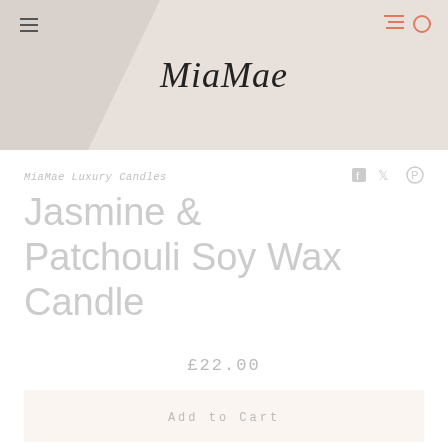[Figure (screenshot): MiaMae website header banner with logo in cursive script, hamburger menu icon on left, cart and circle icons on right, light beige/grey background with subtle textured overlay]
MiaMae Luxury Candles
Jasmine & Patchouli Soy Wax Candle
£22.00
Add to Cart